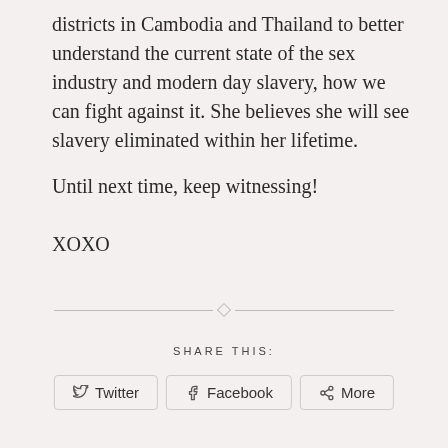districts in Cambodia and Thailand to better understand the current state of the sex industry and modern day slavery, how we can fight against it. She believes she will see slavery eliminated within her lifetime.
Until next time, keep witnessing!
XOXO
SHARE THIS:
Twitter   Facebook   More